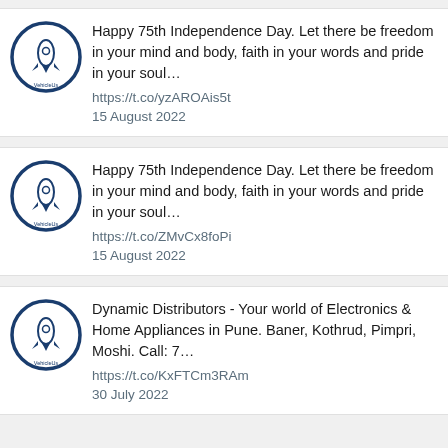Happy 75th Independence Day. Let there be freedom in your mind and body, faith in your words and pride in your soul…
https://t.co/yzAROAis5t
15 August 2022
Happy 75th Independence Day. Let there be freedom in your mind and body, faith in your words and pride in your soul…
https://t.co/ZMvCx8foPi
15 August 2022
Dynamic Distributors - Your world of Electronics & Home Appliances in Pune. Baner, Kothrud, Pimpri, Moshi. Call: 7…
https://t.co/KxFTCm3RAm
30 July 2022